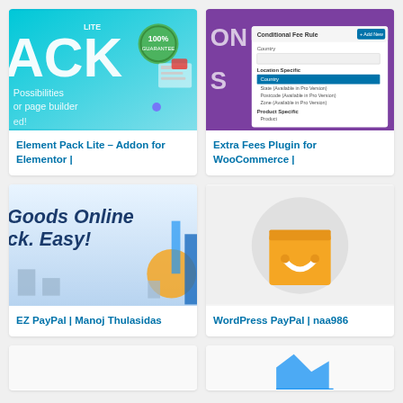[Figure (screenshot): Element Pack Lite plugin thumbnail – teal/cyan gradient background with 'LITE' text, 'ACK' large letters, '100% guarantee' badge, 'Possibilities or page builder' text]
Element Pack Lite – Addon for Elementor |
[Figure (screenshot): Extra Fees Plugin for WooCommerce – purple background showing a 'Conditional Fee Rule' dialog with Location Specific and Product Specific dropdown options]
Extra Fees Plugin for WooCommerce |
[Figure (screenshot): EZ PayPal plugin thumbnail – light blue gradient background with italic bold text 'Goods Online ck. Easy!' and bar chart elements]
EZ PayPal | Manoj Thulasidas
[Figure (illustration): WordPress PayPal plugin thumbnail – light gray background with a yellow/orange shopping bag icon with a smiley face handle]
WordPress PayPal | naa986
[Figure (screenshot): Partial card at bottom left – white background, partially visible]
[Figure (screenshot): Partial card at bottom right – white background with blue chart/graph icon partially visible]